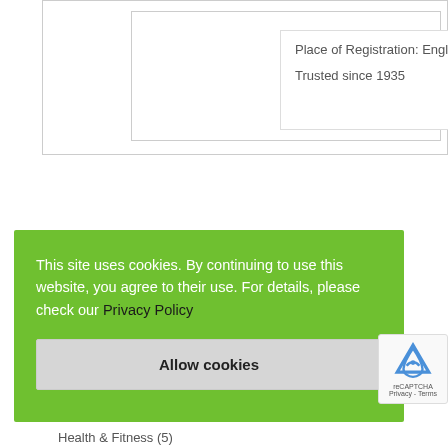Place of Registration: England
Trusted since 1935
This site uses cookies. By continuing to use this website, you agree to their use. For details, please check our Privacy Policy
Allow cookies
Health & Fitness (5)